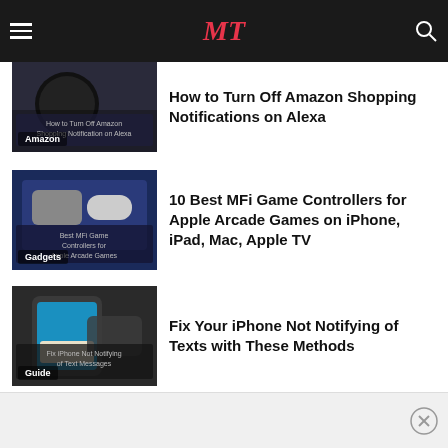MT - How to Turn Off Amazon Shopping Notifications on Alexa
How to Turn Off Amazon Shopping Notifications on Alexa
[Figure (screenshot): Thumbnail image of Amazon Echo device with text overlay 'How to Turn Off Amazon Shopping Notification on Alexa', category label 'Amazon']
10 Best MFi Game Controllers for Apple Arcade Games on iPhone, iPad, Mac, Apple TV
[Figure (screenshot): Thumbnail image of hands holding a game controller with text overlay 'Best MFi Game Controllers for Apple Arcade Games', category label 'Gadgets']
Fix Your iPhone Not Notifying of Texts with These Methods
[Figure (screenshot): Thumbnail image of iPhone showing text messages with text overlay 'Fix iPhone Not Notifying of Text Messages', category label 'Guide']